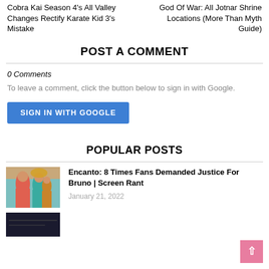Cobra Kai Season 4's All Valley Changes Rectify Karate Kid 3's Mistake
God Of War: All Jotnar Shrine Locations (More Than Myth Guide)
POST A COMMENT
0 Comments
To leave a comment, click the button below to sign in with Google.
SIGN IN WITH GOOGLE
POPULAR POSTS
[Figure (photo): Thumbnail image for Encanto article showing animated characters]
Encanto: 8 Times Fans Demanded Justice For Bruno | Screen Rant
January 21, 2022
[Figure (photo): Thumbnail image for second popular post article, dark background]